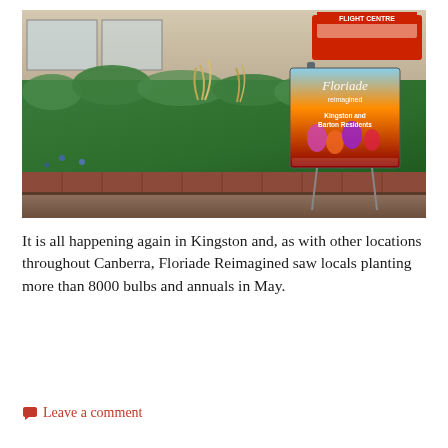[Figure (photo): Outdoor photo of a garden bed with lush green hedges and ornamental grasses. A Floriade Reimagined promotional sign on stakes is visible on the right side of the garden bed, featuring tulips and flowers. People are visible sitting in the background near shops.]
It is all happening again in Kingston and, as with other locations throughout Canberra, Floriade Reimagined saw locals planting more than 8000 bulbs and annuals in May.
Continue reading →
Leave a comment